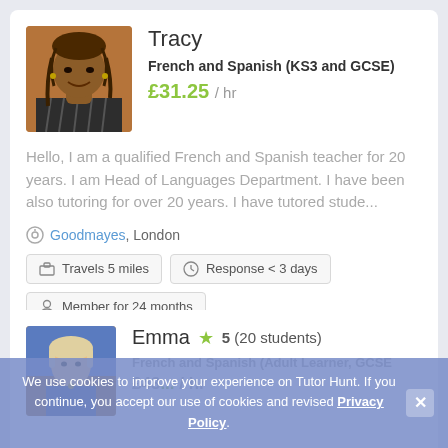[Figure (photo): Profile photo of Tracy, a Black woman with braided hair, smiling, wearing a striped top]
Tracy
French and Spanish (KS3 and GCSE)
£31.25 / hr
Hello, I am a qualified French and Spanish teacher for 20 years. I am Head of Languages Department. I have been also tutoring for over 20 years. I have tutored stude...
Goodmayes, London
Travels 5 miles
Response < 3 days
Member for 24 months
[Figure (photo): Profile photo of Emma, partially visible, a woman with light hair]
Emma  ★  5 (20 students)
French and Spanish (Adult Learner, GCSE
£43... / hr
We use cookies to improve your experience on Tutor Hunt. If you continue, you accept our use of cookies and revised Privacy Policy.